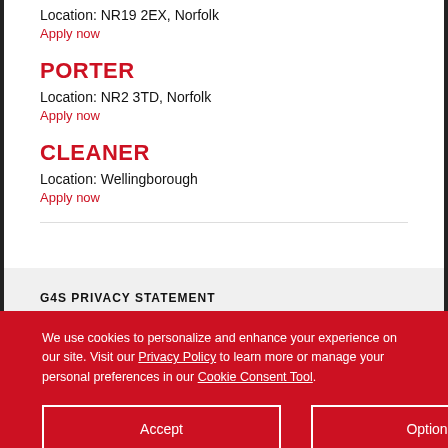Location: NR19 2EX, Norfolk
Apply now
PORTER
Location: NR2 3TD, Norfolk
Apply now
CLEANER
Location: Wellingborough
Apply now
G4S PRIVACY STATEMENT
We use cookies to personalize and enhance your experience on our site. Visit our Privacy Policy to learn more or manage your personal preferences in our Cookie Consent Tool.
Accept
Options